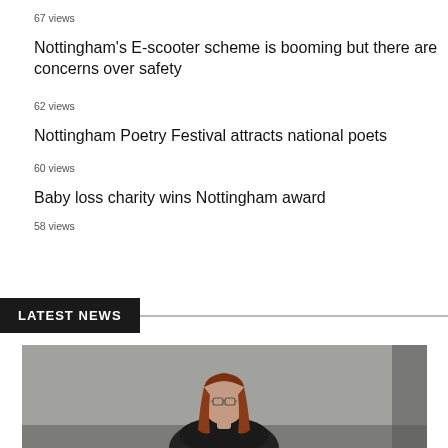67 views
Nottingham's E-scooter scheme is booming but there are concerns over safety
62 views
Nottingham Poetry Festival attracts national poets
60 views
Baby loss charity wins Nottingham award
58 views
LATEST NEWS
[Figure (photo): Photo of a person with red/auburn hair wearing glasses, photographed indoors against a neutral wall background]